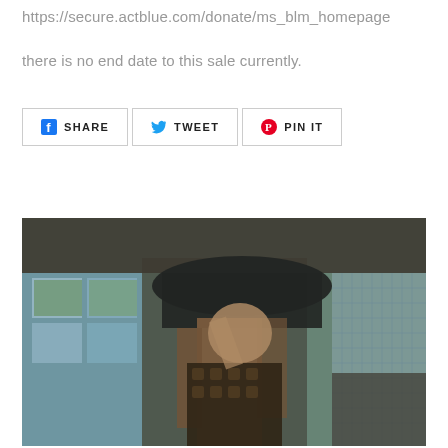https://secure.actblue.com/donate/ms_blm_homepage
there is no end date to this sale currently.
[Figure (other): Social sharing buttons: Share (Facebook), Tweet (Twitter), Pin It (Pinterest)]
[Figure (photo): A person wearing a black hat in a wooden structure with windows and trees visible in the background. The person is wearing a patterned top and has long brown hair.]